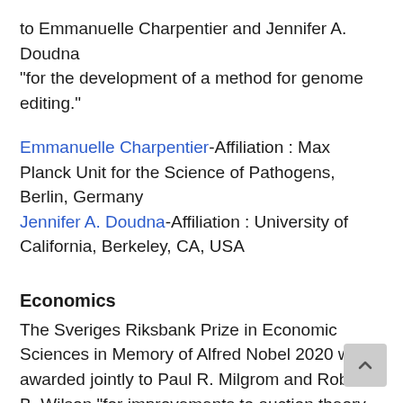to Emmanuelle Charpentier and Jennifer A. Doudna "for the development of a method for genome editing."
Emmanuelle Charpentier-Affiliation : Max Planck Unit for the Science of Pathogens, Berlin, Germany
Jennifer A. Doudna-Affiliation : University of California, Berkeley, CA, USA
Economics
The Sveriges Riksbank Prize in Economic Sciences in Memory of Alfred Nobel 2020 was awarded jointly to Paul R. Milgrom and Robert B. Wilson "for improvements to auction theory and inventions of new auction formats."